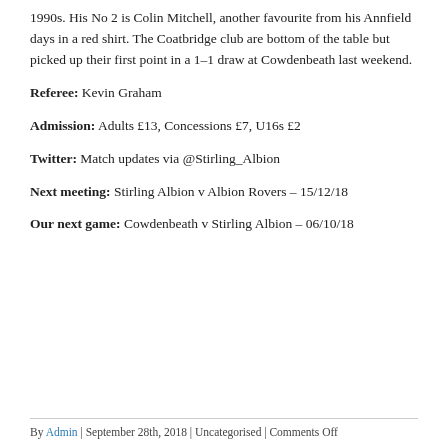1990s. His No 2 is Colin Mitchell, another favourite from his Annfield days in a red shirt. The Coatbridge club are bottom of the table but picked up their first point in a 1–1 draw at Cowdenbeath last weekend.
Referee: Kevin Graham
Admission: Adults £13, Concessions £7, U16s £2
Twitter: Match updates via @Stirling_Albion
Next meeting: Stirling Albion v Albion Rovers – 15/12/18
Our next game: Cowdenbeath v Stirling Albion – 06/10/18
By Admin | September 28th, 2018 | Uncategorised | Comments Off